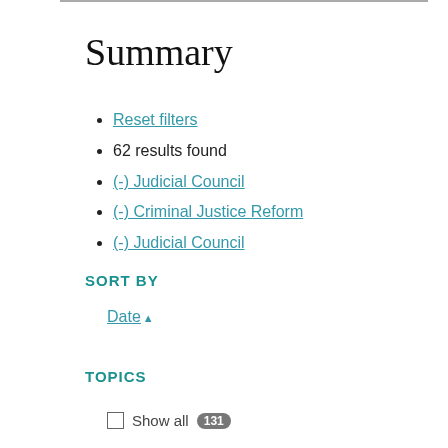Summary
Reset filters
62 results found
(-) Judicial Council
(-) Criminal Justice Reform
(-) Judicial Council
SORT BY
Date ▲
TOPICS
Show all 131